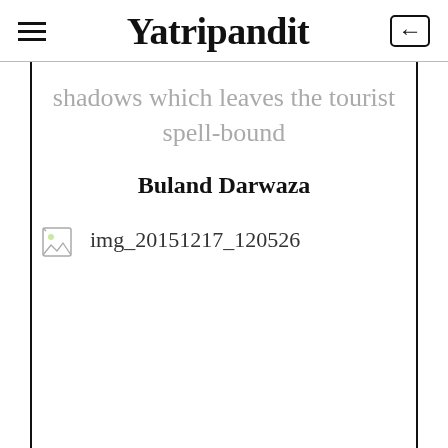Yatripandit
shadows which leaves the tourist spell-bound
Buland Darwaza
[Figure (photo): Broken image placeholder with filename: img_20151217_120526]